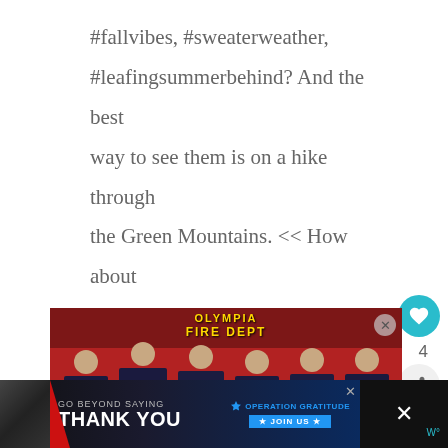#fallvibes, #sweaterweather, #leafingsummerbehind? And the best way to see them is on a hike through the Green Mountains. << How about that irony?
[Figure (photo): Group photo of firefighters in dark uniforms standing in front of a red fire truck with 'OLYMPIA FIRE DEPT' text, with boxes on the ground in front of them.]
[Figure (screenshot): Advertisement bar at the bottom: dark navy background with 'GO BEYOND SAYING THANK YOU' text and 'OPERATION GRATITUDE * JOIN US *' logo/button on the right.]